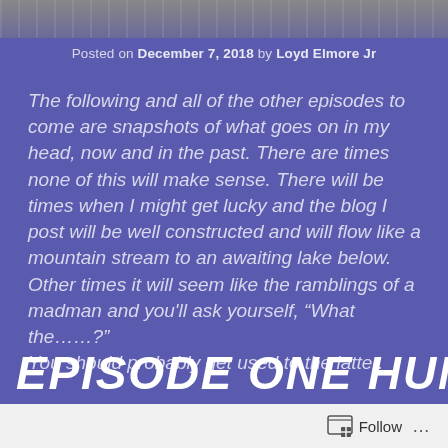[Figure (photo): Decorative banner image at the top of the page with abstract or textured dark pattern]
Posted on December 7, 2018 by Loyd Elmore Jr
The following and all of the other episodes to come are snapshots of what goes on in my head, now and in the past. There are times none of this will make sense. There will be times when I might get lucky and the blog I post will be well constructed and will flow like a mountain stream to an awaiting lake below. Other times it will seem like the ramblings of a madman and you'll ask yourself, "What the……?" You should probably get used to the latter.
EPISODE ONE HUNDRED